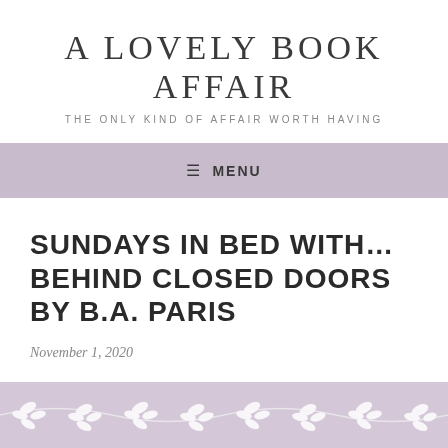A LOVELY BOOK AFFAIR
THE ONLY KIND OF AFFAIR WORTH HAVING
≡ MENU
SUNDAYS IN BED WITH… BEHIND CLOSED DOORS BY B.A. PARIS
November 1, 2020
[Figure (illustration): Decorative floral/vine border pattern in lavender/purple with white leaf motifs]